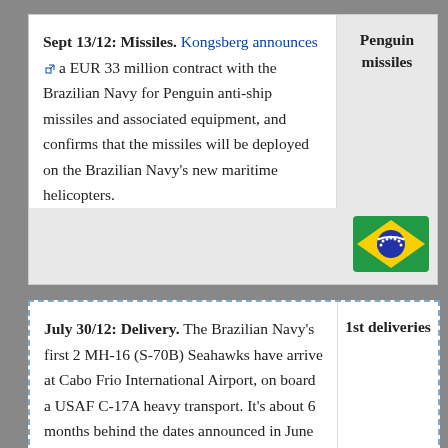| Event | Category |
| --- | --- |
| Sept 13/12: Missiles. Kongsberg announces a EUR 33 million contract with the Brazilian Navy for Penguin anti-ship missiles and associated equipment, and confirms that the missiles will be deployed on the Brazilian Navy's new maritime helicopters. | Penguin missiles |
[Figure (illustration): Brazilian flag icon/image]
| Event | Category |
| --- | --- |
| July 30/12: Delivery. The Brazilian Navy's first 2 MH-16 (S-70B) Seahawks have arrive at Cabo Frio International Airport, on board a USAF C-17A heavy transport. It's about 6 months behind the dates announced in June 2011.

Sikorsky representatives will prepare the "MH-16s" for their flight to Naval Air Station... | 1st deliveries |